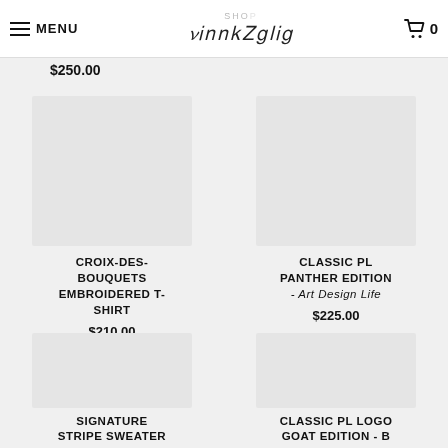MENU | PierreLouis | 🛒 0
$250.00
CROIX-DES-BOUQUETS EMBROIDERED T-SHIRT
$210.00
CLASSIC PL PANTHER EDITION - Art Design Life
$225.00
SIGNATURE STRIPE SWEATER
CLASSIC PL LOGO GOAT EDITION - B